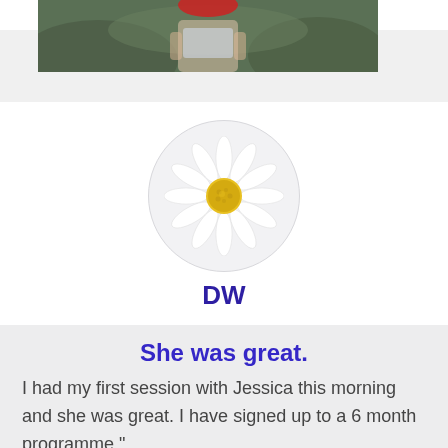[Figure (photo): Top portion of a person standing outdoors with green foliage background, photo cropped at top of page]
[Figure (illustration): Daisy flower emoji inside a rounded oval/circle avatar placeholder for user DW]
DW
She was great.
I had my first session with Jessica this morning and she was great. I have signed up to a 6 month programme."